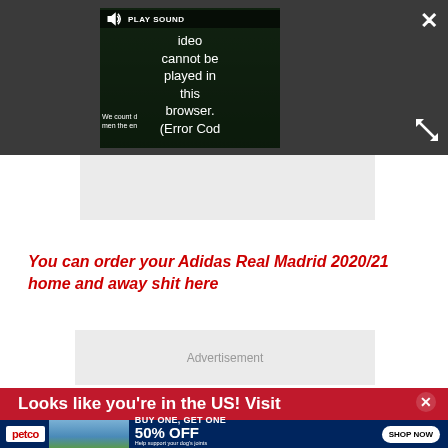[Figure (screenshot): Video player showing error message 'Video cannot be played in this browser. (Error Cod' with a PLAY SOUND button, overlaid on a dark background with a green grass field thumbnail. Close X and expand icons visible.]
[Figure (screenshot): Gray advertisement placeholder banner area]
You can order your Adidas Real Madrid 2020/21 home and away shit here
[Figure (screenshot): Advertisement placeholder box with text 'Advertisement']
[Figure (screenshot): Red banner reading 'Looks like you're in the US! Visit' with a close X button, and below it a Petco advertisement: BUY ONE, GET ONE 50% OFF - Help support your dog's joints with a premium supplement. SHOP NOW button.]